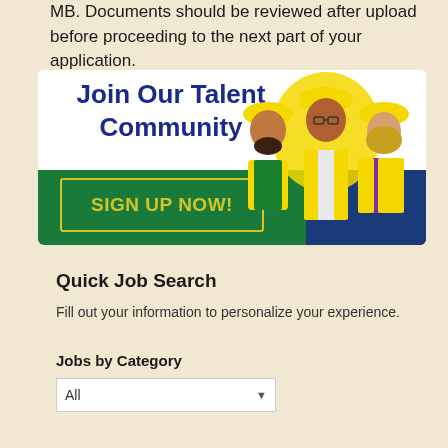MB. Documents should be reviewed after upload before proceeding to the next part of your application.
[Figure (illustration): Banner for joining a Talent Community showing three construction workers wearing yellow hard hats and safety vests, with a 'SIGN UP NOW!' button on a green background.]
Quick Job Search
Fill out your information to personalize your experience.
Jobs by Category
All